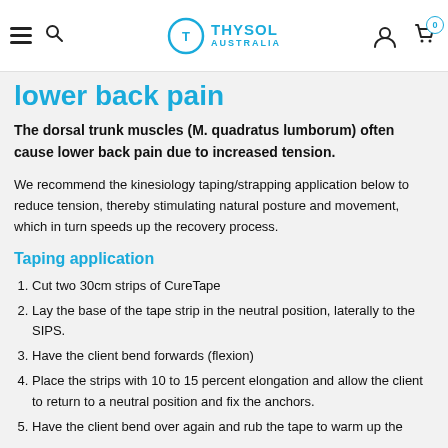THYSOL AUSTRALIA — navigation header
lower back pain
The dorsal trunk muscles (M. quadratus lumborum) often cause lower back pain due to increased tension.
We recommend the kinesiology taping/strapping application below to reduce tension, thereby stimulating natural posture and movement, which in turn speeds up the recovery process.
Taping application
Cut two 30cm strips of CureTape
Lay the base of the tape strip in the neutral position, laterally to the SIPS.
Have the client bend forwards (flexion)
Place the strips with 10 to 15 percent elongation and allow the client to return to a neutral position and fix the anchors.
Have the client bend over again and rub the tape to warm up the